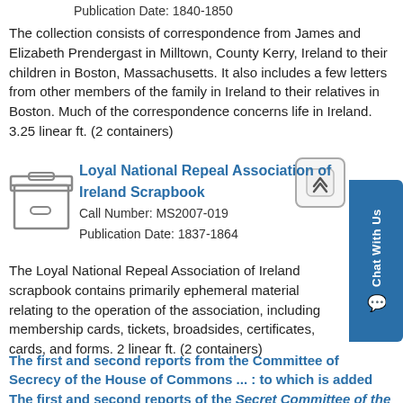Publication Date: 1840-1850
The collection consists of correspondence from James and Elizabeth Prendergast in Milltown, County Kerry, Ireland to their children in Boston, Massachusetts. It also includes a few letters from other members of the family in Ireland to their relatives in Boston. Much of the correspondence concerns life in Ireland.
3.25 linear ft. (2 containers)
[Figure (illustration): Archive box icon]
Loyal National Repeal Association of Ireland Scrapbook
Call Number: MS2007-019
Publication Date: 1837-1864
The Loyal National Repeal Association of Ireland scrapbook contains primarily ephemeral material relating to the operation of the association, including membership cards, tickets, broadsides, certificates, cards, and forms. 2 linear ft. (2 containers)
The first and second reports from the Committee of Secrecy of the House of Commons ... : to which is added The first and second reports of the Secret Committee of the House of Lords, with